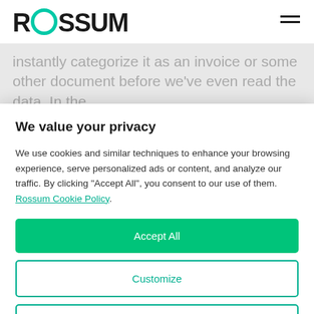ROSSUM
instantly categorize it as an invoice or some other document before we've even read the data. In the
We value your privacy
We use cookies and similar techniques to enhance your browsing experience, serve personalized ads or content, and analyze our traffic. By clicking "Accept All", you consent to our use of them. Rossum Cookie Policy.
Accept All
Customize
Reject All